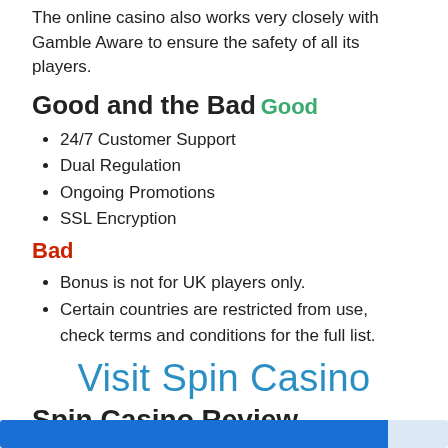The online casino also works very closely with Gamble Aware to ensure the safety of all its players.
Good and the Bad
Good
24/7 Customer Support
Dual Regulation
Ongoing Promotions
SSL Encryption
Bad
Bonus is not for UK players only.
Certain countries are restricted from use, check terms and conditions for the full list.
Visit Spin Casino
Spin Casino Review